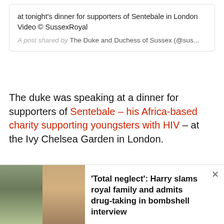at tonight's dinner for supporters of Sentebale in London
Video © SussexRoyal

A post shared by The Duke and Duchess of Sussex (@sus...
The duke was speaking at a dinner for supporters of Sentebale – his Africa-based charity supporting youngsters with HIV – at the Ivy Chelsea Garden in London.
It comes a day after royal family talks concluded and the Sussexes announced they will stop carrying out royal duties from the spring, no longer use the title HRH and will repay the taxpayers' millions spent on their
[Figure (photo): Photos of two men (older man on left, younger man on right) used as thumbnail for a news promo bar]
'Total neglect': Harry slams royal family and admits drug-taking in bombshell interview